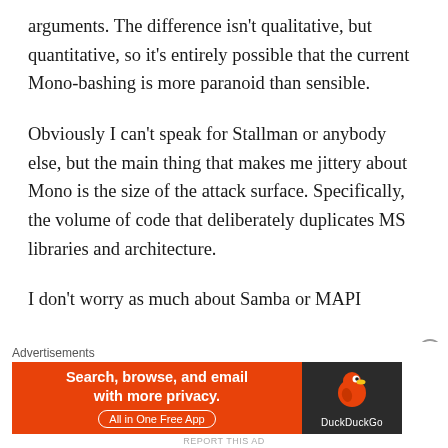arguments. The difference isn't qualitative, but quantitative, so it's entirely possible that the current Mono-bashing is more paranoid than sensible.
Obviously I can't speak for Stallman or anybody else, but the main thing that makes me jittery about Mono is the size of the attack surface. Specifically, the volume of code that deliberately duplicates MS libraries and architecture.
I don't worry as much about Samba or MAPI
[Figure (screenshot): DuckDuckGo advertisement banner: orange left panel with text 'Search, browse, and email with more privacy. All in One Free App' and dark right panel with DuckDuckGo duck logo and brand name.]